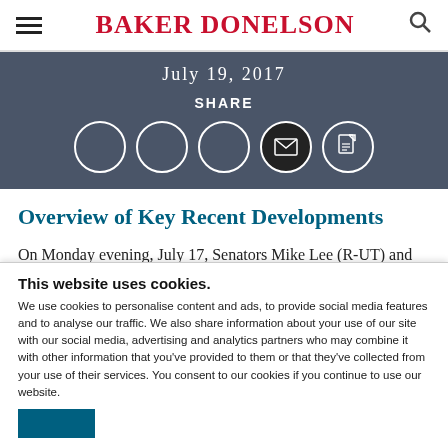BAKER DONELSON
July 19, 2017
SHARE
[Figure (other): Five share/social-media icon circles: three empty circles (social media platforms), one filled dark circle with envelope/email icon, one circle with document/PDF icon]
Overview of Key Recent Developments
On Monday evening, July 17, Senators Mike Lee (R-UT) and Jerry Moran (R-KS) issued joint statements in
This website uses cookies.
We use cookies to personalise content and ads, to provide social media features and to analyse our traffic. We also share information about your use of our site with our social media, advertising and analytics partners who may combine it with other information that you've provided to them or that they've collected from your use of their services. You consent to our cookies if you continue to use our website.